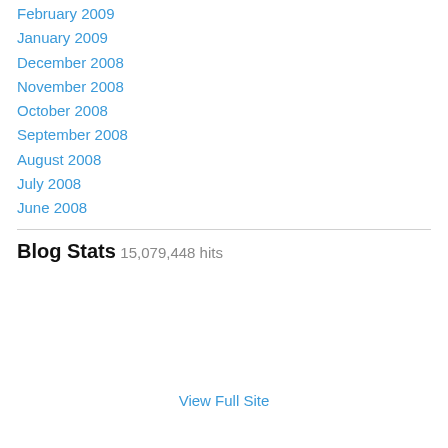February 2009
January 2009
December 2008
November 2008
October 2008
September 2008
August 2008
July 2008
June 2008
Blog Stats
15,079,448 hits
View Full Site